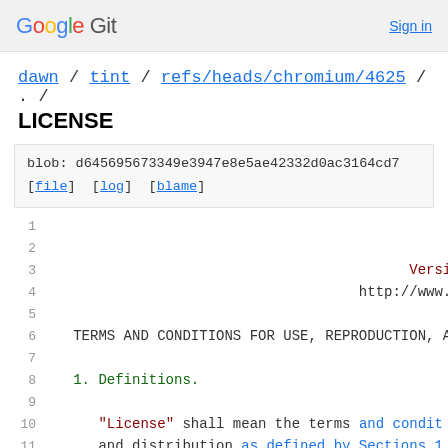Google Git  Sign in
dawn / tint / refs/heads/chromium/4625 / . /
LICENSE
blob: d645695673349e3947e8e5ae42332d0ac3164cd7
[file] [log] [blame]
1
2  Apache License
3  Version 2.0, January
4  http://www.apache.org/l
5
6  TERMS AND CONDITIONS FOR USE, REPRODUCTION, A
7
8  1. Definitions.
9
10  "License" shall mean the terms and condit
11  and distribution as defined by Sections 1